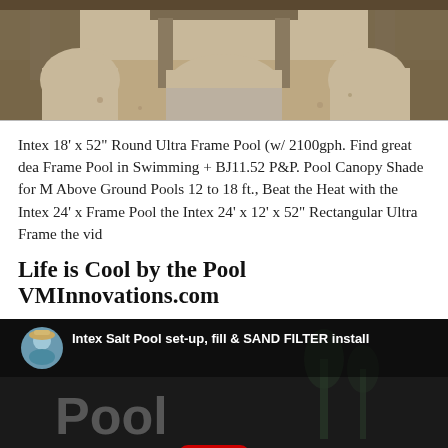[Figure (photo): Top portion of an above-ground swimming pool frame structure showing metal arches and gravel ground, partially cropped]
Intex 18' x 52" Round Ultra Frame Pool (w/ 2100gph. Find great dea Frame Pool in Swimming + BJ11.52 P&P. Pool Canopy Shade for M Above Ground Pools 12 to 18 ft., Beat the Heat with the Intex 24' x Frame Pool the Intex 24' x 12' x 52" Rectangular Ultra Frame the vid
Life is Cool by the Pool VMInnovations.com
[Figure (screenshot): YouTube video thumbnail for 'Intex Salt Pool set-up, fill & SAND FILTER install' showing a dark background with 'Pool Set-up' text in gray, a red YouTube play button, a channel avatar of a woman in a hat, and partial text overlay]